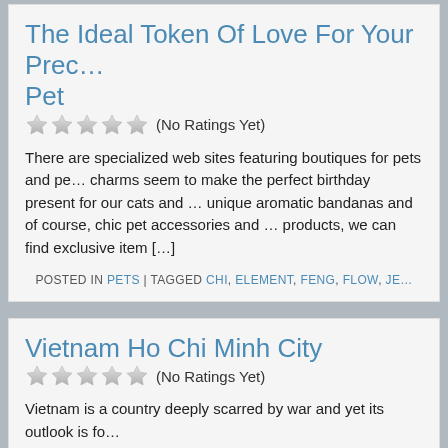The Ideal Token Of Love For Your Prec… Pet
(No Ratings Yet)
There are specialized web sites featuring boutiques for pets and pe… charms seem to make the perfect birthday present for our cats and … unique aromatic bandanas and of course, chic pet accessories and … products, we can find exclusive item […]
POSTED IN PETS | TAGGED CHI, ELEMENT, FENG, FLOW, JE…
Vietnam Ho Chi Minh City
(No Ratings Yet)
Vietnam is a country deeply scarred by war and yet its outlook is fo…
POSTED IN DESTINATIONS | TAGGED CHI, CITY, HO…